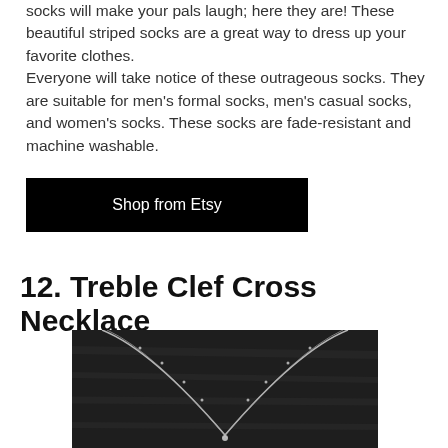socks will make your pals laugh; here they are! These beautiful striped socks are a great way to dress up your favorite clothes.
Everyone will take notice of these outrageous socks. They are suitable for men's formal socks, men's casual socks, and women's socks. These socks are fade-resistant and machine washable.
Shop from Etsy
12. Treble Clef Cross Necklace
[Figure (photo): Photo of a Treble Clef Cross Necklace displayed on a dark leather background, showing a silver chain necklace draped in a V shape.]